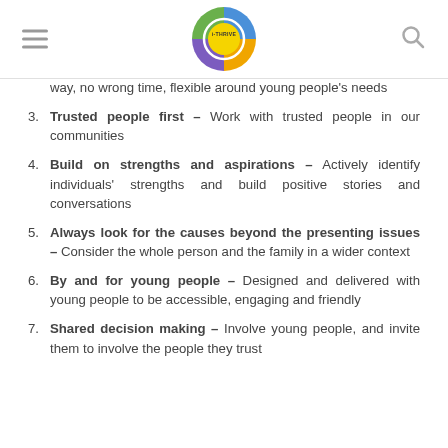i-THRIVE
way, no wrong time, flexible around young people's needs
Trusted people first – Work with trusted people in our communities
Build on strengths and aspirations – Actively identify individuals' strengths and build positive stories and conversations
Always look for the causes beyond the presenting issues – Consider the whole person and the family in a wider context
By and for young people – Designed and delivered with young people to be accessible, engaging and friendly
Shared decision making – Involve young people, and invite them to involve the people they trust